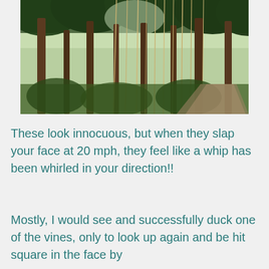[Figure (photo): A forest trail with tall trees and long hanging vines or aerial roots drooping down from the canopy. The scene is sunlit with dense green foliage.]
These look innocuous, but when they slap your face at 20 mph, they feel like a whip has been whirled in your direction!!
Mostly, I would see and successfully duck one of the vines, only to look up again and be hit square in the face by